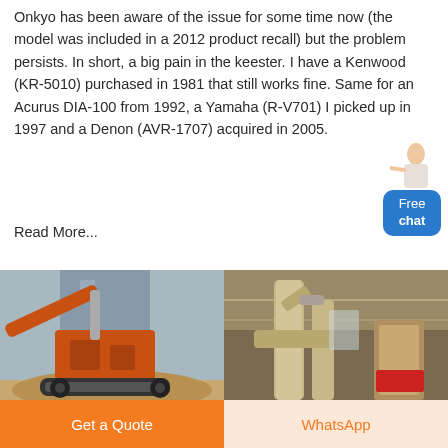Onkyo has been aware of the issue for some time now (the model was included in a 2012 product recall) but the problem persists. In short, a big pain in the keester. I have a Kenwood (KR-5010) purchased in 1981 that still works fine. Same for an Acurus DIA-100 from 1992, a Yamaha (R-V701) I picked up in 1997 and a Denon (AVR-1707) acquired in 2005.
Read More...
[Figure (photo): Two photos side by side: left shows orange industrial crushing/mining machinery outdoors with building in background; right shows large industrial beige dust collection or milling equipment inside a warehouse.]
Get a Quote
WhatsApp